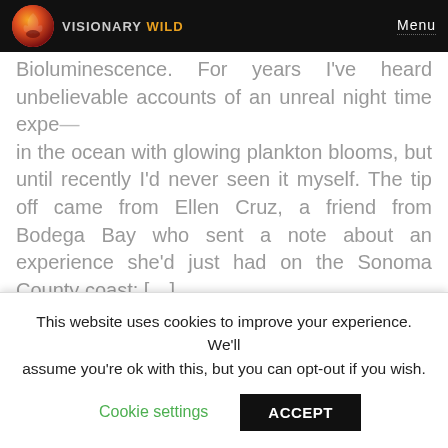VISIONARY WILD | Menu
Bioluminescence: For years I've heard unbelievable accounts of an unreal night time experience in the ocean with glowing plankton blooms, but until recently I'd never seen it myself. The tip off came from Ellen Cruz, a friend from Bodega Bay who sent a note about an experience she'd just had on the Sonoma County coast: […]
POCKET LIGHT METER APP FOR IPHONE
AUGUST 08, 2011 03:35 PM
BY: JUSTIN BLACK / TOPICS: UNCATEGORIZED / 3 COMMENTS »
This website uses cookies to improve your experience. We'll assume you're ok with this, but you can opt-out if you wish.
Cookie settings | ACCEPT